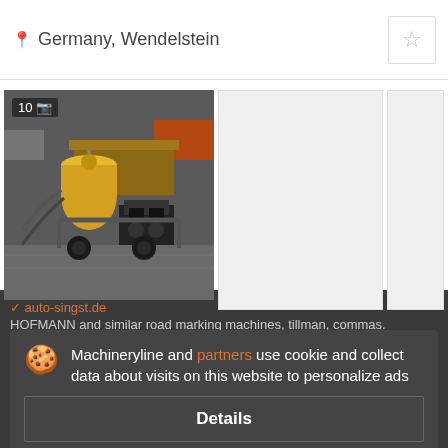Germany, Wendelstein
[Figure (photo): Industrial road marking machine with yellow tank and engine, photographed outdoors on pavement. Badge shows '10' photos.]
€2.900
Road marking machine
Year: 1992
Machineryline and partners use cookie and collect data about visits on this website to personalize ads
Details
Accept and close